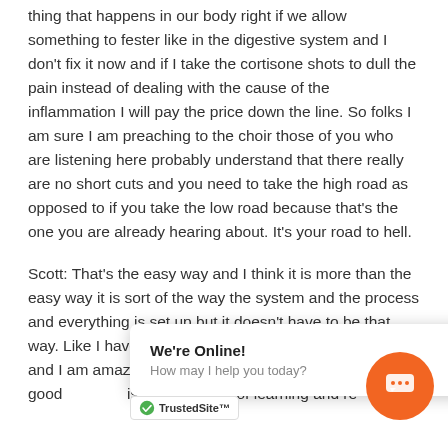thing that happens in our body right if we allow something to fester like in the digestive system and I don't fix it now and if I take the cortisone shots to dull the pain instead of dealing with the cause of the inflammation I will pay the price down the line. So folks I am sure I am preaching to the choir those of you who are listening here probably understand that there really are no short cuts and you need to take the high road as opposed to if you take the low road because that's the one you are already hearing about. It's your road to hell.
Scott: That's the easy way and I think it is more than the easy way it is sort of the way the system and the process and everything is set up but it doesn't have to be that way. Like I have som... raw food and I am amaze... d h... good... is also a matter of learning and re...